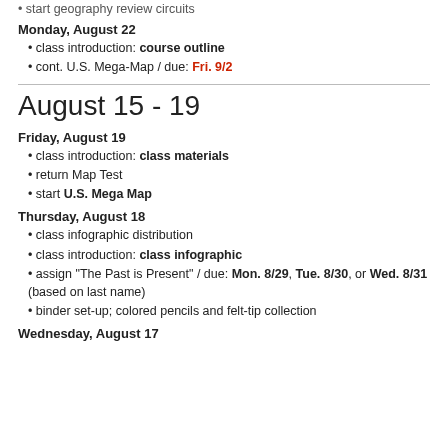• start geography review circuits
Monday, August 22
• class introduction: course outline
• cont. U.S. Mega-Map  /  due: Fri. 9/2
August 15 - 19
Friday, August 19
• class introduction: class materials
• return Map Test
• start U.S. Mega Map
Thursday, August 18
• class infographic distribution
• class introduction: class infographic
• assign "The Past is Present"  /  due: Mon. 8/29, Tue. 8/30, or Wed. 8/31 (based on last name)
• binder set-up; colored pencils and felt-tip collection
Wednesday, August 17